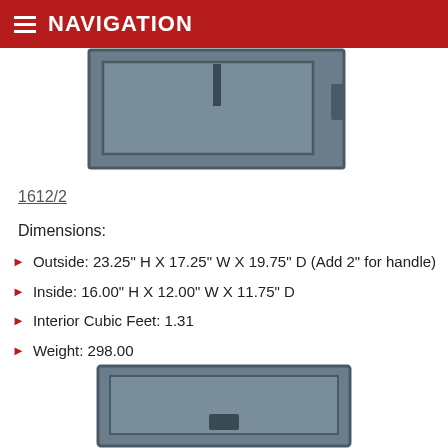NAVIGATION
[Figure (photo): Top portion of a metal security safe showing the front face with a slot and handle, painted in dark gray/blue-gray metallic finish]
1612/2
Dimensions:
Outside: 23.25" H X 17.25" W X 19.75" D (Add 2" for handle)
Inside: 16.00" H X 12.00" W X 11.75" D
Interior Cubic Feet: 1.31
Weight: 298.00
[Figure (photo): Bottom portion of a smaller metal security safe with keypad lock, painted in dark gray/blue-gray metallic finish]